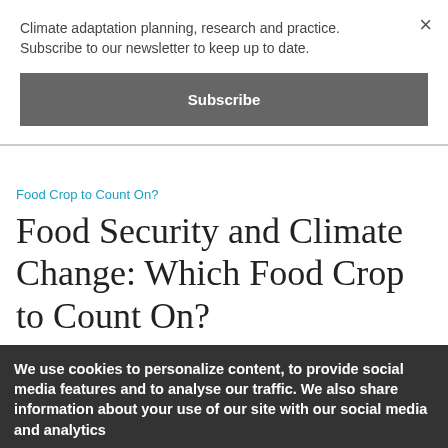Climate adaptation planning, research and practice. Subscribe to our newsletter to keep up to date.
Subscribe
Food Crop to Count On?
Food Security and Climate Change: Which Food Crop to Count On?
Submitted by Susy Wandera | published 25th Jan 2013 | last updated 13th Jan 2020
We use cookies to personalize content, to provide social media features and to analyse our traffic. We also share information about your use of our site with our social media and analytics